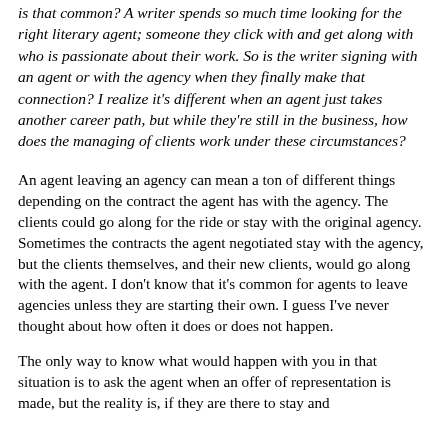is that common? A writer spends so much time looking for the right literary agent; someone they click with and get along with who is passionate about their work. So is the writer signing with an agent or with the agency when they finally make that connection? I realize it's different when an agent just takes another career path, but while they're still in the business, how does the managing of clients work under these circumstances?
An agent leaving an agency can mean a ton of different things depending on the contract the agent has with the agency. The clients could go along for the ride or stay with the original agency. Sometimes the contracts the agent negotiated stay with the agency, but the clients themselves, and their new clients, would go along with the agent. I don't know that it's common for agents to leave agencies unless they are starting their own. I guess I've never thought about how often it does or does not happen.
The only way to know what would happen with you in that situation is to ask the agent when an offer of representation is made, but the reality is, if they are there to stay and